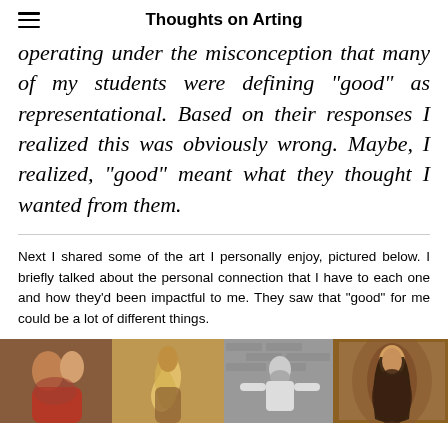Thoughts on Arting
operating under the misconception that many of my students were defining "good" as representational. Based on their responses I realized this was obviously wrong. Maybe, I realized, "good" meant what they thought I wanted from them.
Next I shared some of the art I personally enjoy, pictured below. I briefly talked about the personal connection that I have to each one and how they'd been impactful to me. They saw that "good" for me could be a lot of different things.
[Figure (photo): A horizontal strip of four artworks/photographs: a classical painting of two figures embracing, an image of a figure with wings, a black-and-white photograph of a bearded man against a brick wall, and a painting reminiscent of Edvard Munch's Madonna.]